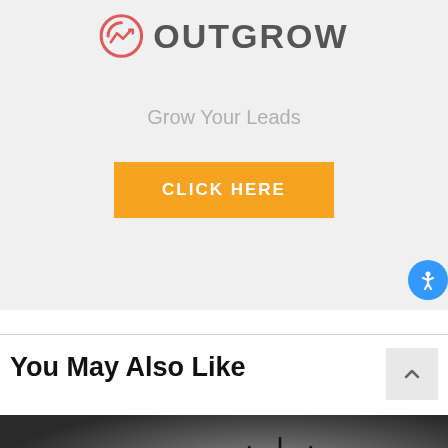[Figure (logo): Outgrow logo with pink circular icon containing a stylized chart arrow, followed by 'OUTGROW' in dark gray bold sans-serif text]
Grow Your Leads
[Figure (other): Orange 'CLICK HERE' call-to-action button]
[Figure (other): Blue circular accessibility icon with person/wheelchair symbol]
You May Also Like
[Figure (photo): Dark gradient background image with a golden glowing lightbulb and radiating lines, partially visible at bottom of page]